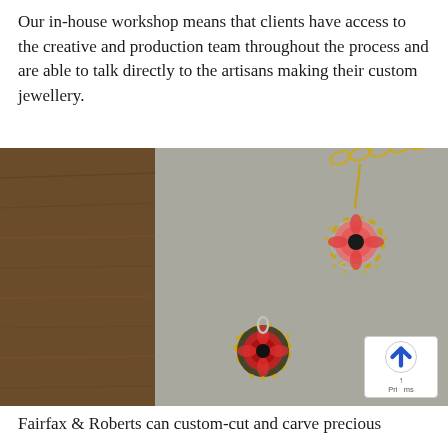Our in-house workshop means that clients have access to the creative and production team throughout the process and are able to talk directly to the artisans making their custom jewellery.
[Figure (photo): Two ornate floral jewellery pendants — one finished with gold and gemstones, one in sketch/design form — displayed on a grey surface with a wooden background on the left.]
Fairfax & Roberts can custom-cut and carve precious